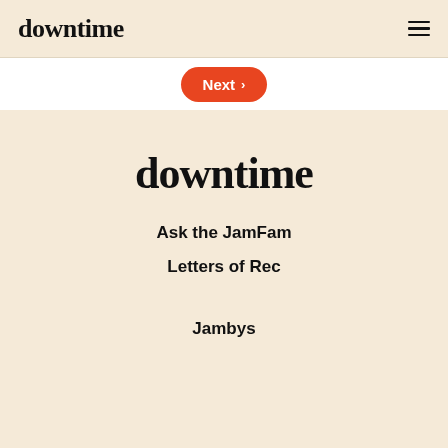downtime
Next
downtime
Ask the JamFam
Letters of Rec
Jambys